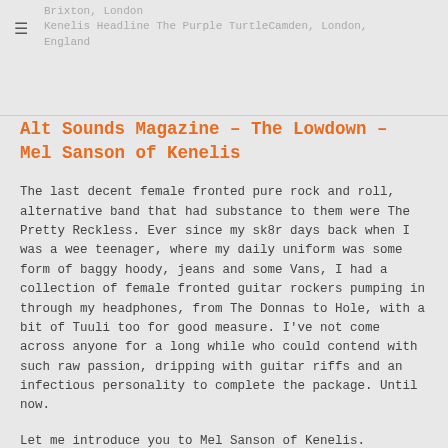Brixton, London
Kenelis Headline The Purple TurtleCamden, London, England
Alt Sounds Magazine – The Lowdown – Mel Sanson of Kenelis
The last decent female fronted pure rock and roll, alternative band that had substance to them were The Pretty Reckless. Ever since my sk8r days back when I was a wee teenager, where my daily uniform was some form of baggy hoody, jeans and some Vans, I had a collection of female fronted guitar rockers pumping in through my headphones, from The Donnas to Hole, with a bit of Tuuli too for good measure. I've not come across anyone for a long while who could contend with such raw passion, dripping with guitar riffs and an infectious personality to complete the package. Until now.
Let me introduce you to Mel Sanson of Kenelis.
I had the privilidge to chat with Mel about kids,